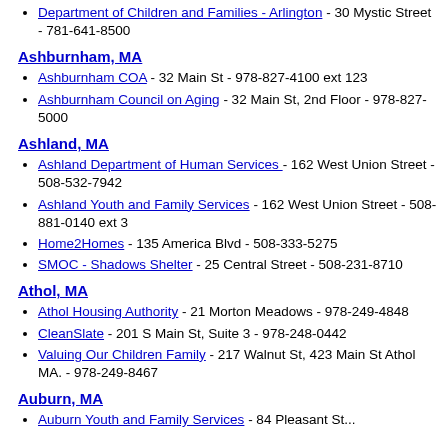Department of Children and Families - Arlington - 30 Mystic Street - 781-641-8500
Ashburnham, MA
Ashburnham COA - 32 Main St - 978-827-4100 ext 123
Ashburnham Council on Aging - 32 Main St, 2nd Floor - 978-827-5000
Ashland, MA
Ashland Department of Human Services - 162 West Union Street - 508-532-7942
Ashland Youth and Family Services - 162 West Union Street - 508-881-0140 ext 3
Home2Homes - 135 America Blvd - 508-333-5275
SMOC - Shadows Shelter - 25 Central Street - 508-231-8710
Athol, MA
Athol Housing Authority - 21 Morton Meadows - 978-249-4848
CleanSlate - 201 S Main St, Suite 3 - 978-248-0442
Valuing Our Children Family - 217 Walnut St, 423 Main St Athol MA. - 978-249-8467
Auburn, MA
Auburn Youth and Family Services - 84 Pleasant Street...